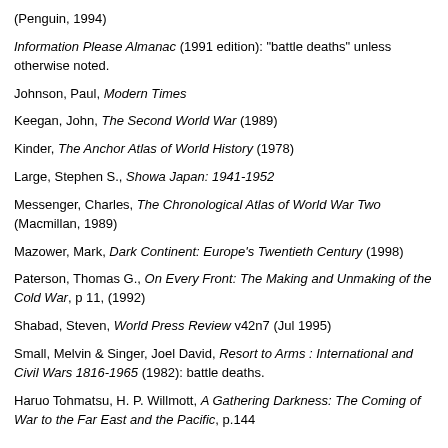(Penguin, 1994)
Information Please Almanac (1991 edition): "battle deaths" unless otherwise noted.
Johnson, Paul, Modern Times
Keegan, John, The Second World War (1989)
Kinder, The Anchor Atlas of World History (1978)
Large, Stephen S., Showa Japan: 1941-1952
Messenger, Charles, The Chronological Atlas of World War Two (Macmillan, 1989)
Mazower, Mark, Dark Continent: Europe’s Twentieth Century (1998)
Paterson, Thomas G., On Every Front: The Making and Unmaking of the Cold War, p 11, (1992)
Shabad, Steven, World Press Review v42n7 (Jul 1995)
Small, Melvin & Singer, Joel David, Resort to Arms : International and Civil Wars 1816-1965 (1982): battle deaths.
Haruo Tohmatsu, H. P. Willmott, A Gathering Darkness: The Coming of War to the Far East and the Pacific, p.144